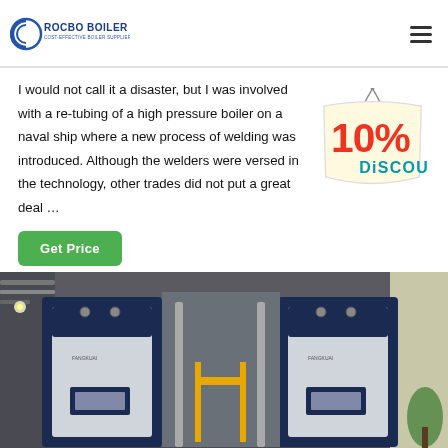ROCBO BOILER - COST-EFFECTIVE BOILER SUPPLIER
I would not call it a disaster, but I was involved with a re-tubing of a high pressure boiler on a naval ship where a new process of welding was introduced. Although the welders were versed in the technology, other trades did not put a great deal …
[Figure (illustration): 10% DISCOUNT tag/badge graphic in red and teal colors]
[Figure (photo): Industrial boiler room with two large dark blue and white condensing boilers (branded FANGKUAI) side by side, connected by yellow gas pipes, in a concrete room with overhead piping and a plant visible in the far right corner.]